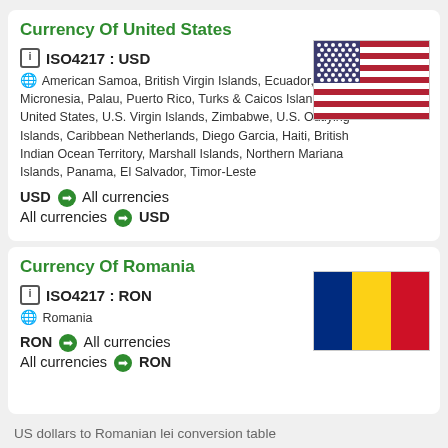Currency Of United States
ISO4217 : USD
American Samoa, British Virgin Islands, Ecuador, Guam, Micronesia, Palau, Puerto Rico, Turks & Caicos Islands, United States, U.S. Virgin Islands, Zimbabwe, U.S. Outlying Islands, Caribbean Netherlands, Diego Garcia, Haiti, British Indian Ocean Territory, Marshall Islands, Northern Mariana Islands, Panama, El Salvador, Timor-Leste
USD → All currencies
All currencies → USD
[Figure (illustration): Flag of the United States — blue canton with white stars, red and white horizontal stripes]
Currency Of Romania
ISO4217 : RON
Romania
RON → All currencies
All currencies → RON
[Figure (illustration): Flag of Romania — three vertical stripes: blue, yellow, red]
US dollars to Romanian lei conversion table